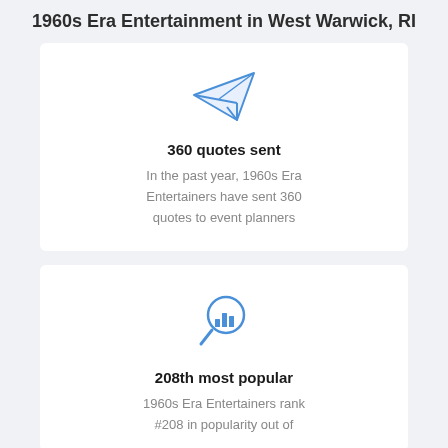1960s Era Entertainment in West Warwick, RI
[Figure (illustration): Paper airplane icon in blue outline style]
360 quotes sent
In the past year, 1960s Era Entertainers have sent 360 quotes to event planners
[Figure (illustration): Magnifying glass with bar chart icon in blue outline style]
208th most popular
1960s Era Entertainers rank #208 in popularity out of